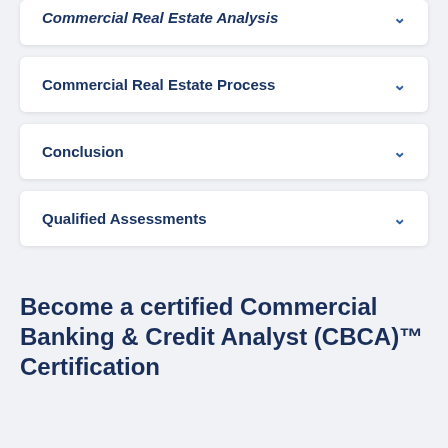Commercial Real Estate Analysis
Commercial Real Estate Process
Conclusion
Qualified Assessments
Become a certified Commercial Banking & Credit Analyst (CBCA)™ Certification